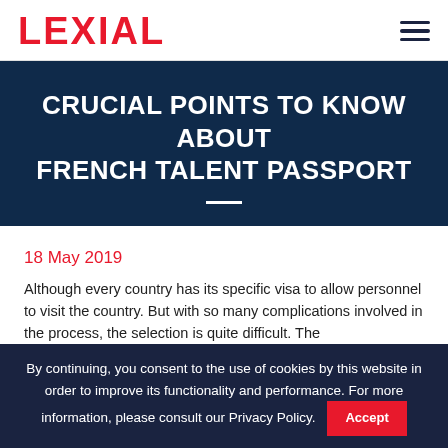LEXIAL
CRUCIAL POINTS TO KNOW ABOUT FRENCH TALENT PASSPORT
18 May 2019
Although every country has its specific visa to allow personnel to visit the country. But with so many complications involved in the process, the selection is quite difficult. The
By continuing, you consent to the use of cookies by this website in order to improve its functionality and performance. For more information, please consult our Privacy Policy.